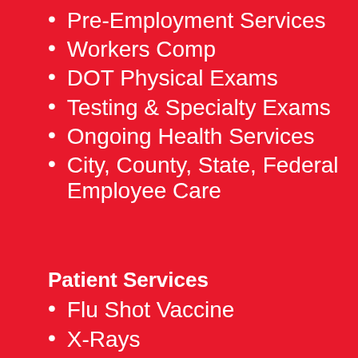Pre-Employment Services
Workers Comp
DOT Physical Exams
Testing & Specialty Exams
Ongoing Health Services
City, County, State, Federal Employee Care
Patient Services
Flu Shot Vaccine
X-Rays
Laboratory Services
Sports Physicals
STD Testing
Travel Medicine